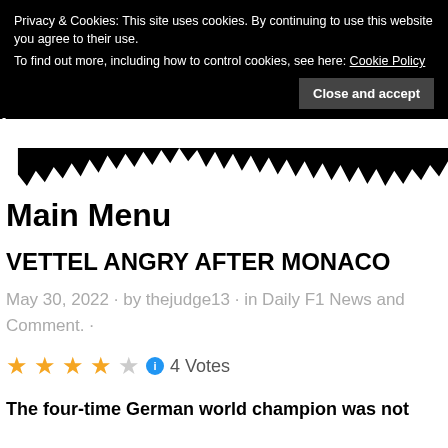Privacy & Cookies: This site uses cookies. By continuing to use this website you agree to their use. To find out more, including how to control cookies, see here: Cookie Policy
Close and accept
Main Menu
VETTEL ANGRY AFTER MONACO
May 30, 2022 · by thejude13 · in Daily F1 News and Comment. ·
4 Votes
The four-time German world champion was not